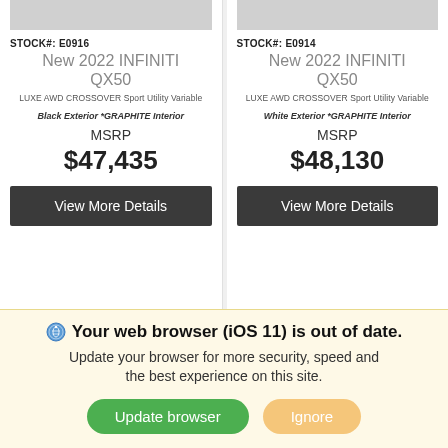[Figure (photo): Partial top of two car listing cards showing vehicle images (cropped)]
STOCK#: E0916
New 2022 INFINITI QX50
LUXE AWD CROSSOVER Sport Utility Variable
Black Exterior *GRAPHITE Interior
MSRP
$47,435
View More Details
STOCK#: E0914
New 2022 INFINITI QX50
LUXE AWD CROSSOVER Sport Utility Variable
White Exterior *GRAPHITE Interior
MSRP
$48,130
View More Details
CALCULATE YOUR DE
CALCULATE YOUR DE
Your web browser (iOS 11) is out of date.
Update your browser for more security, speed and the best experience on this site.
Update browser
Ignore